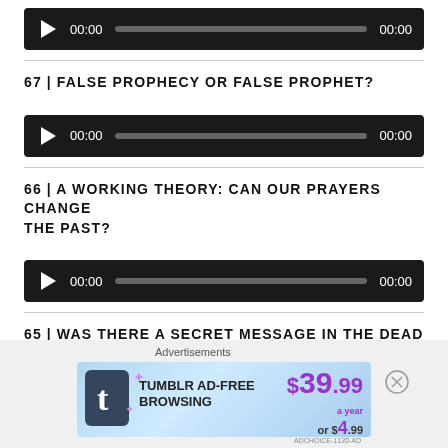[Figure (other): Audio player with play button, time display 00:00 and 00:00, progress bar]
67 | FALSE PROPHECY OR FALSE PROPHET?
[Figure (other): Audio player with play button, time display 00:00 and 00:00, progress bar]
66 | A WORKING THEORY: CAN OUR PRAYERS CHANGE THE PAST?
[Figure (other): Audio player with play button, time display 00:00 and 00:00, progress bar]
65 | WAS THERE A SECRET MESSAGE IN THE DEAD FIG TREE INCIDENT?
Advertisements
[Figure (other): Tumblr AD-FREE BROWSING advertisement banner. $39.99 a year or $4.99 a month]